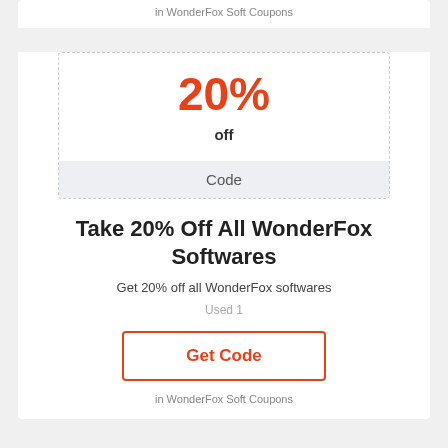in WonderFox Soft Coupons
[Figure (other): Coupon box showing 20% off with a Code bar]
Take 20% Off All WonderFox Softwares
Get 20% off all WonderFox softwares
Used 1
Get Code
in WonderFox Soft Coupons